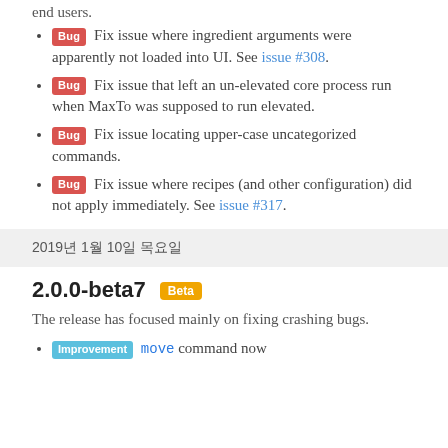end users.
Bug Fix issue where ingredient arguments were apparently not loaded into UI. See issue #308.
Bug Fix issue that left an un-elevated core process run when MaxTo was supposed to run elevated.
Bug Fix issue locating upper-case uncategorized commands.
Bug Fix issue where recipes (and other configuration) did not apply immediately. See issue #317.
2019년 1월 10일 목요일
2.0.0-beta7 Beta
The release has focused mainly on fixing crashing bugs.
Improvement move command now